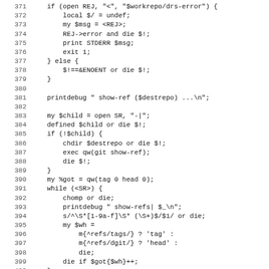[Figure (screenshot): Source code listing in monospace font showing Perl code lines 371-402, with line numbers on the left and code on the right. The code handles file opening, error handling, git show-ref operations, and reference parsing.]